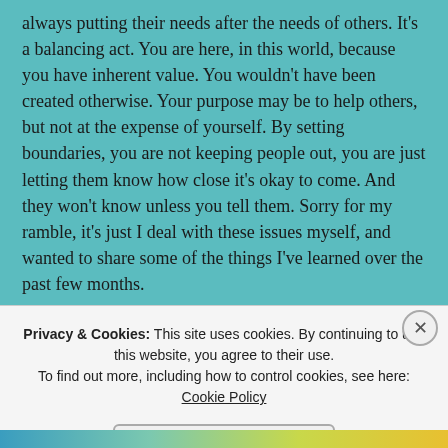always putting their needs after the needs of others. It's a balancing act. You are here, in this world, because you have inherent value. You wouldn't have been created otherwise. Your purpose may be to help others, but not at the expense of yourself. By setting boundaries, you are not keeping people out, you are just letting them know how close it's okay to come. And they won't know unless you tell them. Sorry for my ramble, it's just I deal with these issues myself, and wanted to share some of the things I've learned over the past few months.
★ Liked by 1 person
↩ Reply
Privacy & Cookies: This site uses cookies. By continuing to use this website, you agree to their use. To find out more, including how to control cookies, see here: Cookie Policy
Close and accept